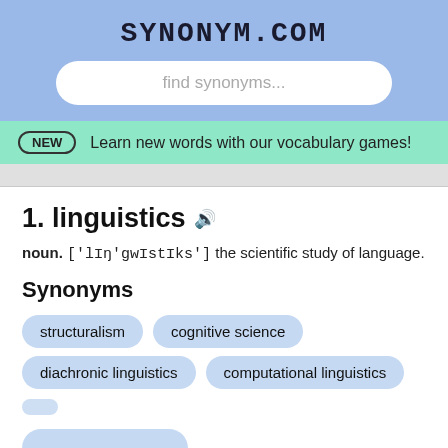SYNONYM.COM
find synonyms...
NEW  Learn new words with our vocabulary games!
1. linguistics 🔊
noun. ['lɪŋ'gwɪstɪks'] the scientific study of language.
Synonyms
structuralism
cognitive science
diachronic linguistics
computational linguistics